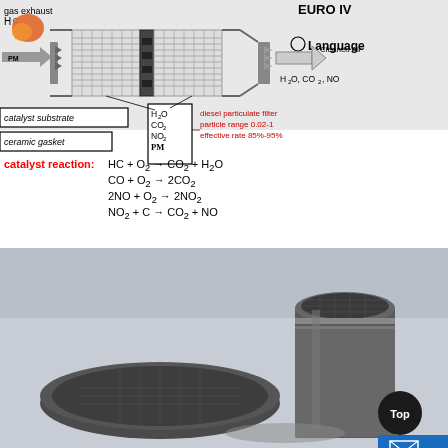[Figure (schematic): Diesel exhaust aftertreatment system schematic showing gas exhaust input with HC/PM, catalyst substrate, ceramic gasket, particulate filter with H2O/CO2/NO2/PM labels, and clean air output with H2O, CO2, NO. EURO IV standard label shown top right.]
catalyst substrate
ceramic gasket
diesel particulate filter particle range 0.02-1 effective rate 85%-95%
[Figure (photo): Photo of three cylindrical ceramic/metal catalyst substrates (honeycomb monoliths) on a gray surface, shown from an angle revealing the honeycomb structure on top faces.]